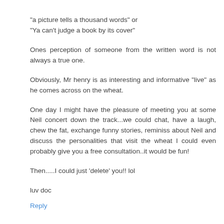"a picture tells a thousand words" or
"Ya can't judge a book by its cover"
Ones perception of someone from the written word is not always a true one.
Obviously, Mr henry is as interesting and informative "live" as he comes across on the wheat.
One day I might have the pleasure of meeting you at some Neil concert down the track...we could chat, have a laugh, chew the fat, exchange funny stories, reminiss about Neil and discuss the personalities that visit the wheat I could even probably give you a free consultation..it would be fun!
Then.....I could just 'delete' you!! lol
luv doc
Reply